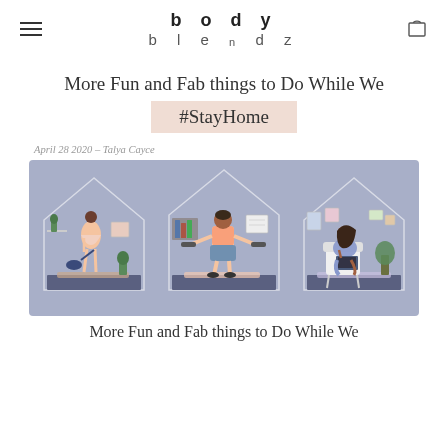body blendz
More Fun and Fab things to Do While We #StayHome
April 28 2020 – Talya Cayce
[Figure (illustration): Three illustrated panels showing people inside house outlines on a purple/lavender background: a woman vacuuming, a man lifting dumbbells, and a woman sitting in a chair working on a laptop.]
More Fun and Fab things to Do While We